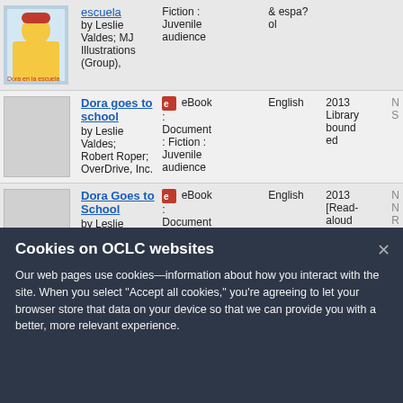| cover | title/author | format | language | year | extra |
| --- | --- | --- | --- | --- | --- |
| [image] | escuela
by Leslie Valdes; MJ Illustrations (Group), | Fiction : Juvenile audience | & espa? ol |  |
| [blank] | Dora goes to school
by Leslie Valdes; Robert Roper; OverDrive, Inc. | eBook : Document : Fiction : Juvenile audience | English | 2013 Library bound ed |
| [blank] | Dora Goes to School
by Leslie Valdes; Robert Roper | eBook : Document : Fiction : Juvenile audience | English | 2013 [Read-aloud edition] |
| [image:Dora Goes to School book] | Dora goes to school | Print | English | 2012 |
[Figure (screenshot): Cookie consent banner overlay on OCLC website with dark background reading 'Cookies on OCLC websites']
Cookies on OCLC websites
Our web pages use cookies—information about how you interact with the site. When you select "Accept all cookies," you're agreeing to let your browser store that data on your device so that we can provide you with a better, more relevant experience.